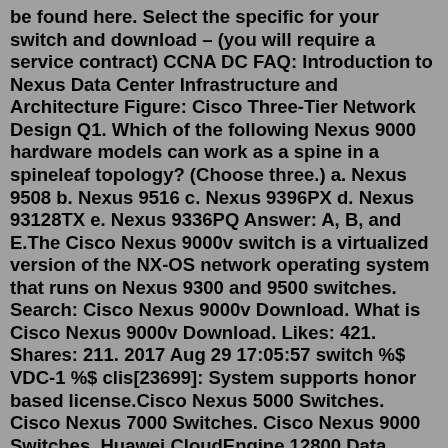be found here. Select the specific for your switch and download – (you will require a service contract) CCNA DC FAQ: Introduction to Nexus Data Center Infrastructure and Architecture Figure: Cisco Three-Tier Network Design Q1. Which of the following Nexus 9000 hardware models can work as a spine in a spineleaf topology? (Choose three.) a. Nexus 9508 b. Nexus 9516 c. Nexus 9396PX d. Nexus 93128TX e. Nexus 9336PQ Answer: A, B, and E.The Cisco Nexus 9000v switch is a virtualized version of the NX-OS network operating system that runs on Nexus 9300 and 9500 switches. Search: Cisco Nexus 9000v Download. What is Cisco Nexus 9000v Download. Likes: 421. Shares: 211. 2017 Aug 29 17:05:57 switch %$ VDC-1 %$ clis[23699]: System supports honor based license.Cisco Nexus 5000 Switches. Cisco Nexus 7000 Switches. Cisco Nexus 9000 Switches. Huawei CloudEngine 12800 Data Center Switches. Huawei CloudEngine 16800 Data Center Switches. Huawei CloudEngine 5800 Data Center Switches. Huawei